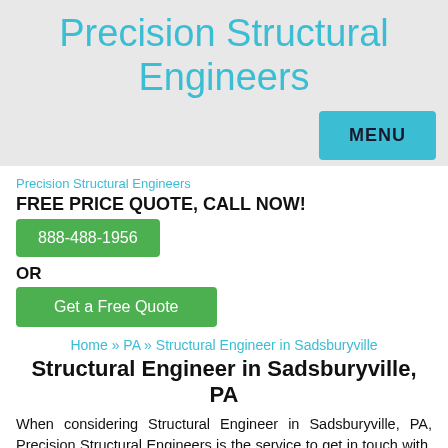Precision Structural Engineers
[Figure (other): MENU button in cyan/teal color on grey background]
Precision Structural Engineers
FREE PRICE QUOTE, CALL NOW!
888-488-1956
OR
Get a Free Quote
Home » PA » Structural Engineer in Sadsburyville
Structural Engineer in Sadsburyville, PA
When considering Structural Engineer in Sadsburyville, PA, Precision Structural Engineers is the service to get in touch with. Let our professional expertise work for you by calling